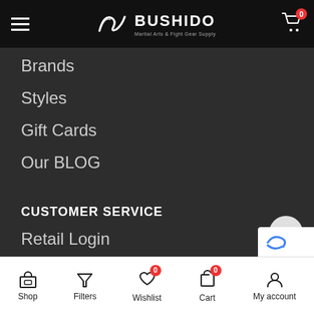[Figure (screenshot): Bushido Martial Arts & Fight Gear Supply website navigation menu on dark background with top header bar showing hamburger menu, Bushido logo, and cart icon with badge 0. Navigation links: Brands, Styles, Gift Cards, Our BLOG. Customer Service section header followed by links: Retail Login, Wholesale Login, Custom Gear, Order Tracking. Bottom navigation bar with Shop, Filters, Wishlist (badge 0), Cart (badge 0), My account icons.]